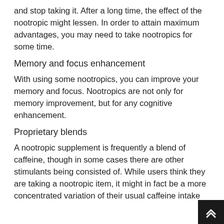and stop taking it. After a long time, the effect of the nootropic might lessen. In order to attain maximum advantages, you may need to take nootropics for some time.
Memory and focus enhancement
With using some nootropics, you can improve your memory and focus. Nootropics are not only for memory improvement, but for any cognitive enhancement.
Proprietary blends
A nootropic supplement is frequently a blend of caffeine, though in some cases there are other stimulants being consisted of. While users think they are taking a nootropic item, it might in fact be a more concentrated variation of their usual caffeine intake